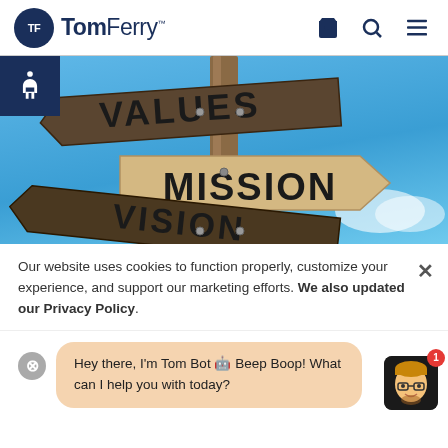TomFerry
[Figure (photo): Wooden directional signpost with signs reading VALUES, MISSION, and VISION against a blue sky background. An accessibility wheelchair icon badge appears in the top-left corner.]
Our website uses cookies to function properly, customize your experience, and support our marketing efforts. We also updated our Privacy Policy.
Hey there, I'm Tom Bot 🤖 Beep Boop! What can I help you with today?